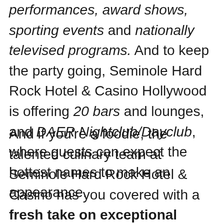performances, award shows, sporting events and nationally televised programs. And to keep the party going, Seminole Hard Rock Hotel & Casino Hollywood is offering 20 bars and lounges, and DAER Nightclub/Dayclub, where guests can expect the hottest names to make an appearance.
And if you're a foodie, the talented culinary team at Seminole Hard Rock Hotel & Casino has you covered with a fresh take on exceptional dining. Delicious flavors and the finest ingredients infuse every dish, created on-site daily, with a flair to satisfy your vast cravings.